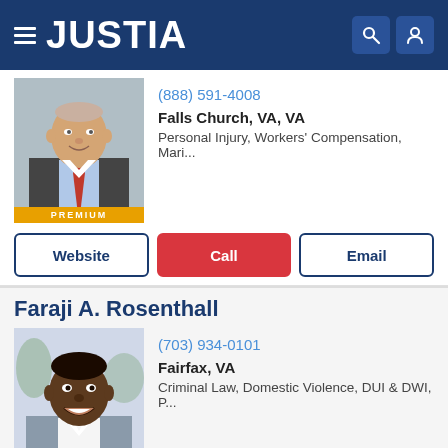JUSTIA
(888) 591-4008
Falls Church, VA, VA
Personal Injury, Workers' Compensation, Mari...
Website | Call | Email
Faraji A. Rosenthall
(703) 934-0101
Fairfax, VA
Criminal Law, Domestic Violence, DUI & DWI, P...
Website | Call | Email